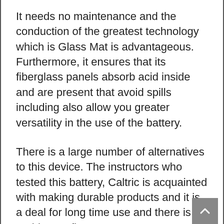It needs no maintenance and the conduction of the greatest technology which is Glass Mat is advantageous. Furthermore, it ensures that its fiberglass panels absorb acid inside and are present that avoid spills including also allow you greater versatility in the use of the battery.
There is a large number of alternatives to this device. The instructors who tested this battery, Caltric is acquainted with making durable products and it is a deal for long time use and there is no problem at first.